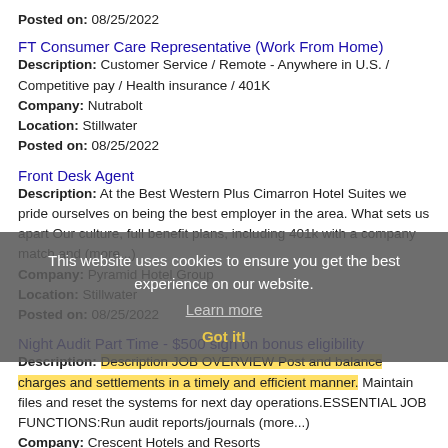Posted on: 08/25/2022
FT Consumer Care Representative (Work From Home)
Description: Customer Service / Remote - Anywhere in U.S. / Competitive pay / Health insurance / 401K
Company: Nutrabolt
Location: Stillwater
Posted on: 08/25/2022
Front Desk Agent
Description: At the Best Western Plus Cimarron Hotel Suites we pride ourselves on being the best employer in the area. What sets us apart Our culture, full benefit plans, including 401k with a company match and (more...)
Company: Pyramid Hotel Group
Location: Stillwater
Posted on: 08/25/2022
Night Audit Part Time - $500 sign on bonus eligibility
Description: Description JOB OVERVIEW Post and balance charges and settlements in a timely and efficient manner. Maintain files and reset the systems for next day operations.ESSENTIAL JOB FUNCTIONS:Run audit reports/journals (more...)
Company: Crescent Hotels and Resorts